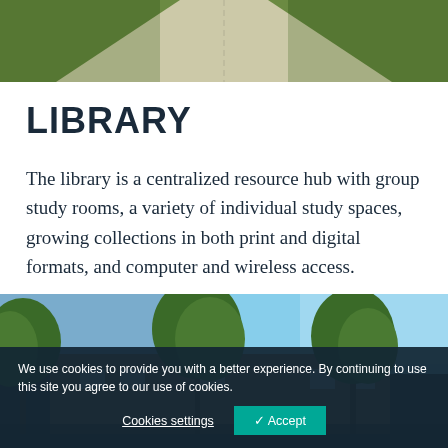[Figure (photo): Aerial or ground-level view of a concrete pathway/sidewalk with green grass on either side, perspective view toward vanishing point]
LIBRARY
The library is a centralized resource hub with group study rooms, a variety of individual study spaces, growing collections in both print and digital formats, and computer and wireless access.
[Figure (photo): Exterior photo of a library building with large green trees in foreground and a blue sky, brick building visible behind the trees]
We use cookies to provide you with a better experience. By continuing to use this site you agree to our use of cookies.